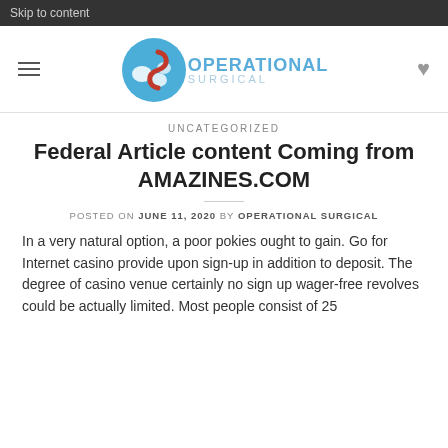Skip to content
[Figure (logo): Operational Surgical logo with blue circle, red S shape, and text OPERATIONAL SURGICAL]
UNCATEGORIZED
Federal Article content Coming from AMAZINES.COM
POSTED ON JUNE 11, 2020 BY OPERATIONAL SURGICAL
In a very natural option, a poor pokies ought to gain. Go for Internet casino provide upon sign-up in addition to deposit. The degree of casino venue certainly no sign up wager-free revolves could be actually limited. Most people consist of 25